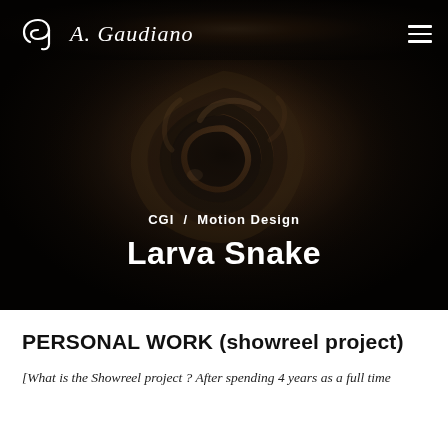[Figure (photo): Dark moody close-up photo of a black rose or spiral flower, serving as hero background for a CGI/Motion Design portfolio page]
A. Gaudiano — navigation header with logo and hamburger menu
CGI  /  Motion Design
Larva Snake
PERSONAL WORK (showreel project)
[What is the Showreel project ? After spending 4 years as a full time